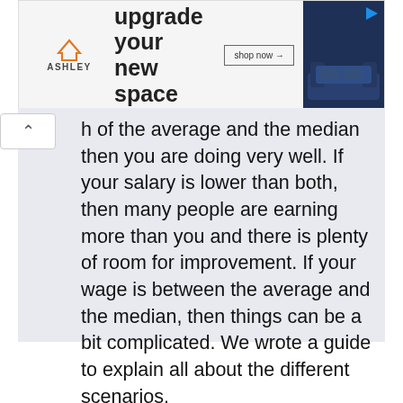[Figure (other): Ashley Furniture advertisement banner with house logo, text 'upgrade your new space', shop now button, and sofa image]
h of the average and the median then you are doing very well. If your salary is lower than both, then many people are earning more than you and there is plenty of room for improvement. If your wage is between the average and the median, then things can be a bit complicated. We wrote a guide to explain all about the different scenarios. How to compare your salary